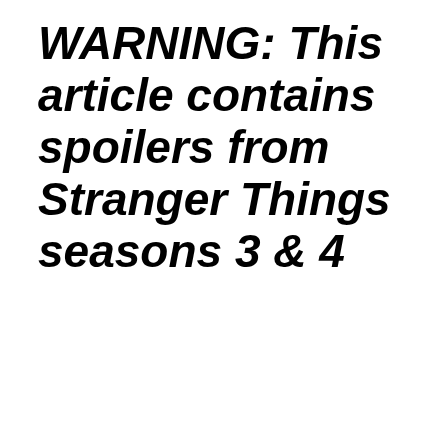WARNING: This article contains spoilers from Stranger Things seasons 3 & 4